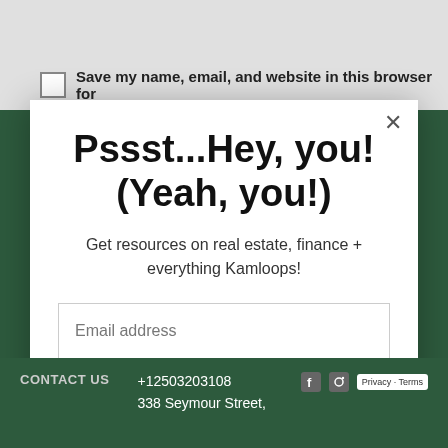Save my name, email, and website in this browser for
Pssst...Hey, you! (Yeah, you!)
Get resources on real estate, finance + everything Kamloops!
Email address
Subscribe
CONTACT US
+12503203108
338 Seymour Street,